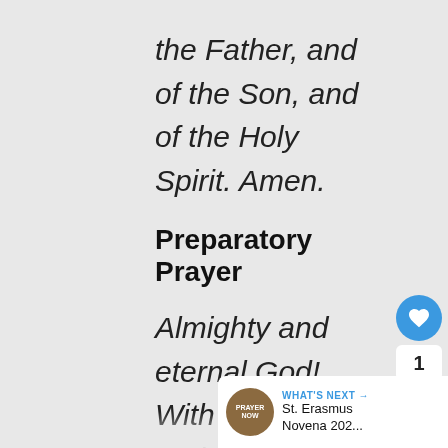the Father, and of the Son, and of the Holy Spirit. Amen.
Preparatory Prayer
Almighty and eternal God! With lively faith and reverently worshiping Thy divine Majesty, I prostrate myself before Thee and invoke with filial trust Thy supreme bounty and mercy...